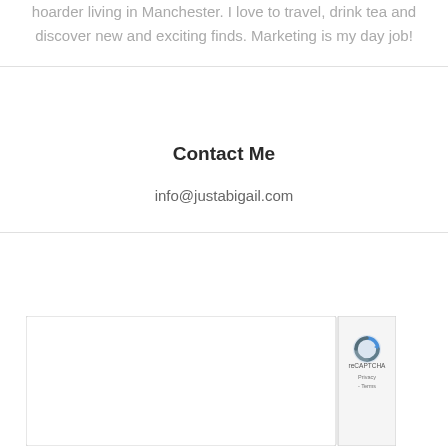hoarder living in Manchester. I love to travel, drink tea and discover new and exciting finds. Marketing is my day job!
Contact Me
info@justabigail.com
[Figure (other): reCAPTCHA widget box with partial Google reCAPTCHA badge showing logo and Terms text on the right side]